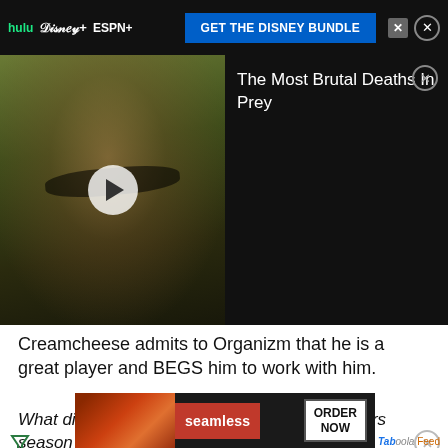[Figure (screenshot): Top ad banner with Hulu, Disney+, ESPN+ logos and GET THE DISNEY BUNDLE button on dark background]
[Figure (screenshot): Video player showing a woman with face paint and dark hair; right panel shows title 'The Most Brutal Deaths In Prey' on black background]
Creamcheese admits to Organizm that he is a great player and BEGS him to work with him.
What did you think of Paramount+ series Players season 1, episode 5? Comment below.
[Figure (screenshot): Bottom ad: Seamless food delivery service with pizza image and ORDER NOW button]
Taboola Feed